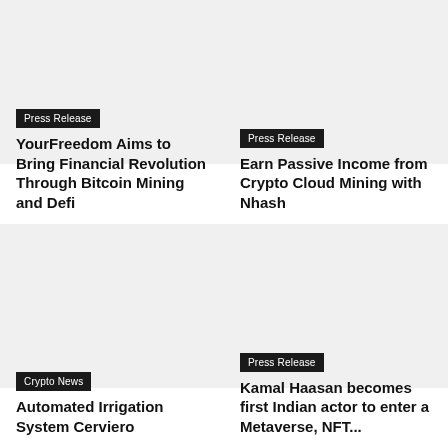[Figure (photo): Top-left card image placeholder]
Press Release
YourFreedom Aims to Bring Financial Revolution Through Bitcoin Mining and Defi
[Figure (photo): Top-right card image placeholder]
Press Release
Earn Passive Income from Crypto Cloud Mining with Nhash
[Figure (photo): Bottom-left card image placeholder]
Crypto News
Automated Irrigation System Cerviero
[Figure (photo): Bottom-right card image placeholder]
Press Release
Kamal Haasan becomes first Indian actor to enter a Metaverse, NFT...